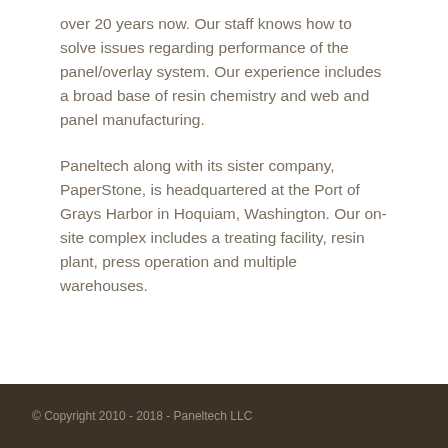over 20 years now. Our staff knows how to solve issues regarding performance of the panel/overlay system. Our experience includes a broad base of resin chemistry and web and panel manufacturing.
Paneltech along with its sister company, PaperStone, is headquartered at the Port of Grays Harbor in Hoquiam, Washington. Our on-site complex includes a treating facility, resin plant, press operation and multiple warehouses.
© Copyright 2010 - 2018 - Paneltech LLC